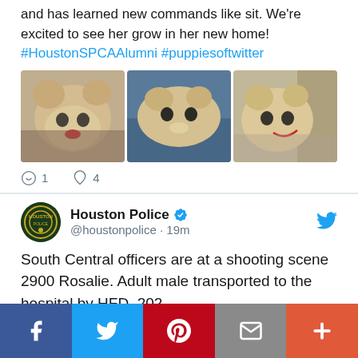and has learned new commands like sit. We're excited to see her grow in her new home! #HoustonSPCAAlumni #puppiesoftwitter
[Figure (photo): Three photos of a light-colored puppy/dog in a pet bed]
1  4 (comment and like counts)
Houston Police @houstonpolice · 19m
South Central officers are at a shooting scene 2900 Rosalie. Adult male transported to the hospital by HFD. 202
[Figure (photo): Dark photo, partially visible]
Facebook  Twitter  Pinterest  Email  More (social share bar)